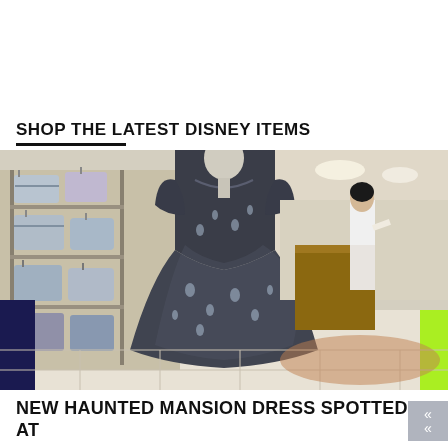SHOP THE LATEST DISNEY ITEMS
[Figure (photo): A mannequin wearing a dark navy/charcoal Haunted Mansion themed dress with sheer overlay and butterfly/ghost pattern, displayed in a Disney retail store with shelves of themed handbags and purses visible in the background. Other shoppers visible in the background.]
NEW HAUNTED MANSION DRESS SPOTTED AT